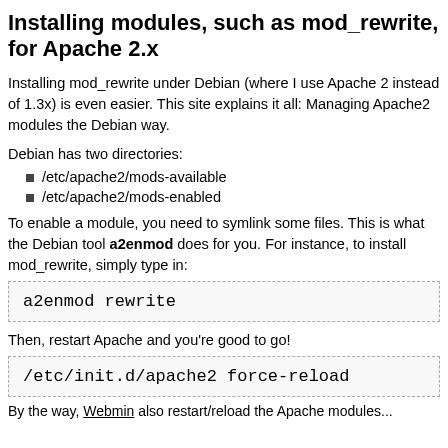Installing modules, such as mod_rewrite, for Apache 2.x
Installing mod_rewrite under Debian (where I use Apache 2 instead of 1.3x) is even easier. This site explains it all: Managing Apache2 modules the Debian way.
Debian has two directories:
/etc/apache2/mods-available
/etc/apache2/mods-enabled
To enable a module, you need to symlink some files. This is what the Debian tool a2enmod does for you. For instance, to install mod_rewrite, simply type in:
a2enmod rewrite
Then, restart Apache and you're good to go!
/etc/init.d/apache2 force-reload
By the way, Webmin also restart/reload the Apache modules...